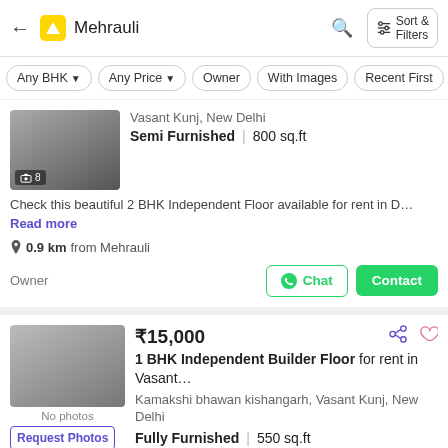Mehrauli — search results header with back arrow, logo, search icon, Sort & Filters button
Any BHK | Any Price | Owner | With Images | Recent First
Vasant Kunj, New Delhi
Semi Furnished | 800 sq.ft
Check this beautiful 2 BHK Independent Floor available for rent in D… Read more
0.9 km from Mehrauli
Owner
₹15,000
1 BHK Independent Builder Floor for rent in Vasant…
Kamakshi bhawan kishangarh, Vasant Kunj, New Delhi
Fully Furnished | 550 sq.ft
Your search for a spacious home at affordable rent in Delhi ends he… Read more
1.2 km from Mehrauli